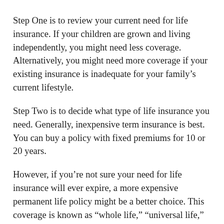Step One is to review your current need for life insurance. If your children are grown and living independently, you might need less coverage. Alternatively, you might need more coverage if your existing insurance is inadequate for your family’s current lifestyle.
Step Two is to decide what type of life insurance you need. Generally, inexpensive term insurance is best. You can buy a policy with fixed premiums for 10 or 20 years.
However, if you’re not sure your need for life insurance will ever expire, a more expensive permanent life policy might be a better choice. This coverage is known as “whole life,” “universal life,” or “variable life” insurance.
Once you make these decisions, work with an experienced agent to shop the market and get the best deal. Don’t cancel